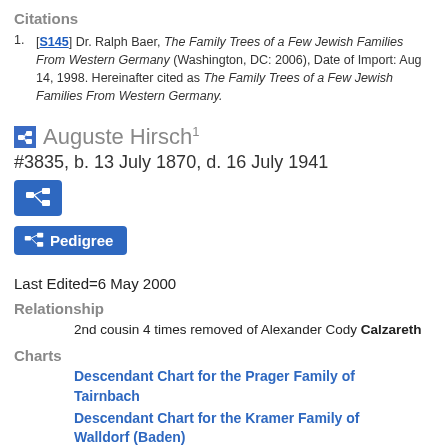Citations
[S145] Dr. Ralph Baer, The Family Trees of a Few Jewish Families From Western Germany (Washington, DC: 2006), Date of Import: Aug 14, 1998. Hereinafter cited as The Family Trees of a Few Jewish Families From Western Germany.
Auguste Hirsch¹
#3835, b. 13 July 1870, d. 16 July 1941
Last Edited=6 May 2000
Relationship
2nd cousin 4 times removed of Alexander Cody Calzareth
Charts
Descendant Chart for the Prager Family of Tairnbach
Descendant Chart for the Kramer Family of Walldorf (Baden)